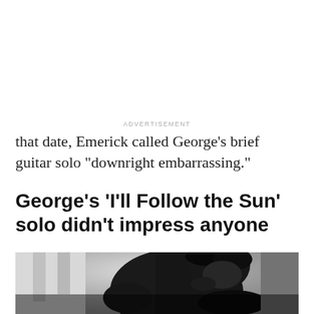ADVERTISEMENT
that date, Emerick called George’s brief guitar solo “downright embarrassing.”
George’s ‘I’ll Follow the Sun’ solo didn’t impress anyone
[Figure (photo): Black and white photograph of a young man (George Harrison) leaning forward, wearing a dark jacket, shot from slightly above, with a blurred background.]